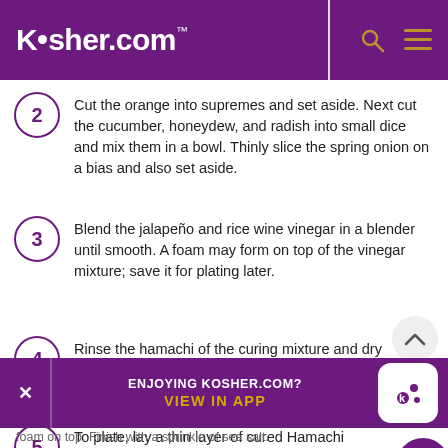Kosher.com
2 Cut the orange into supremes and set aside. Next cut the cucumber, honeydew, and radish into small dice and mix them in a bowl. Thinly slice the spring onion on a bias and also set aside.
3 Blend the jalapeño and rice wine vinegar in a blender until smooth. A foam may form on top of the vinegar mixture; save it for plating later.
4 Rinse the hamachi of the curing mixture and dry it completely. Thinly slice the fish.
5 To plate, lay a thin layer of cured Hamachi across the plate. Spoon some of the cucumber, honeydew, and radish mix...
foam on top. Finish with a sprinkle of sea salt.
ENJOYING KOSHER.COM? VIEW IN APP